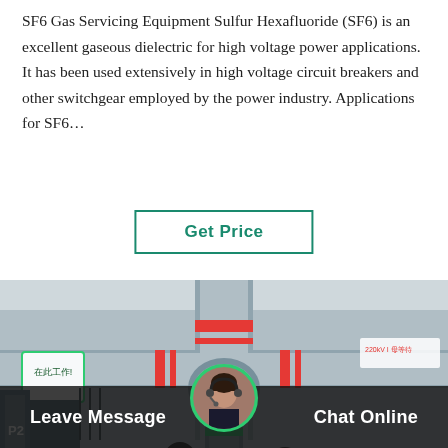SF6 Gas Servicing Equipment Sulfur Hexafluoride (SF6) is an excellent gaseous dielectric for high voltage power applications. It has been used extensively in high voltage circuit breakers and other switchgear employed by the power industry. Applications for SF6…
Get Price
[Figure (photo): Industrial SF6 gas servicing equipment — large grey metal pipes and valves with red band markings, Chinese signage, two workers in blue and orange jackets examining equipment inside a tent or facility.]
Leave Message
[Figure (photo): Customer service avatar: a woman wearing a headset, circular green-bordered icon.]
Chat Online